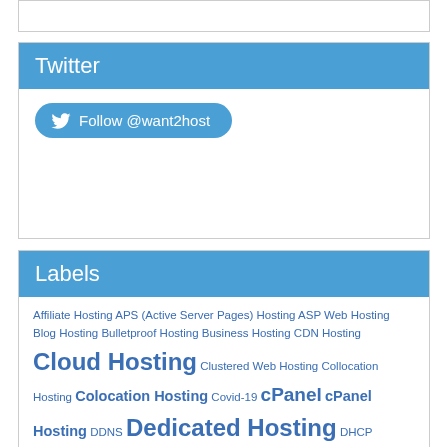Twitter
Follow @want2host
Labels
Affiliate Hosting APS (Active Server Pages) Hosting ASP Web Hosting Blog Hosting Bulletproof Hosting Business Hosting CDN Hosting Cloud Hosting Clustered Web Hosting Collocation Hosting Colocation Hosting Covid-19 cPanel cPanel Hosting DDNS Dedicated Hosting DHCP DNS DNS Servers DNSSEC Domain Domain Name Drupal Hosting Easy Hosting Control Panel(EHCP) eCommerce Hosting Email Hosting File Hosting File Sharing Free Hosting Free Web Hosting FTP Geolocated Hosting Green Web Hosting HDD Hosting Hosting HTTP HTTPS Hybrid Server Internet Intranet Intranet Hosting IPFS JAMStack Java Servlet Hosting Joomla hosting Linux Hosting Magento Hosting Managed Hosting Offshore Hosting Paid Hosting PHP Hosting Plesk Python Hosting Reseller Hosting Secure Shell Secure Web Hosting Server Server Hosting SFTP Shared Hosting SMTP SSD Hosting SSH SSL Certificates Static Site Hosting Subdirectory Subdomain Traditional Hosting Unix Hosting VPS Hosting Web Hosting Web